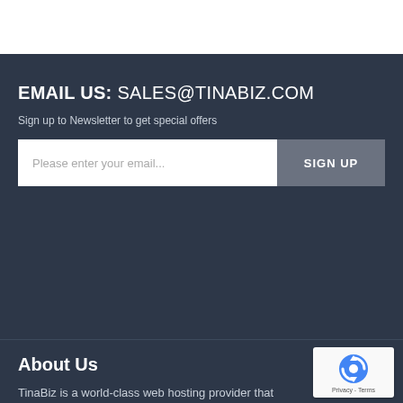EMAIL US: SALES@TINABIZ.COM
Sign up to Newsletter to get special offers
Please enter your email...
SIGN UP
About Us
TinaBiz is a world-class web hosting provider that offers SSD hosting services. We also provide quality...
[Figure (other): reCAPTCHA badge with spinning arrows logo and Privacy - Terms text]